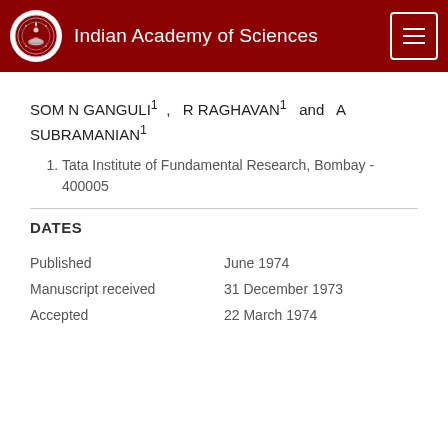Indian Academy of Sciences
SOM N GANGULI¹ , R RAGHAVAN¹ and A SUBRAMANIAN¹
1. Tata Institute of Fundamental Research, Bombay - 400005
DATES
|  |  |
| --- | --- |
| Published | June 1974 |
| Manuscript received | 31 December 1973 |
| Accepted | 22 March 1974 |